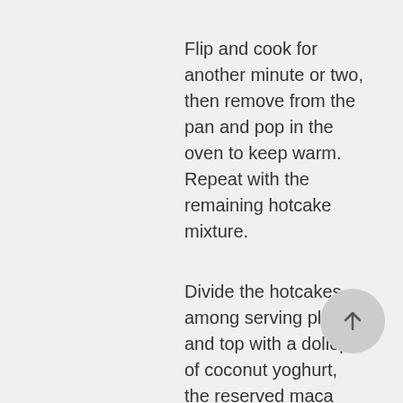Flip and cook for another minute or two, then remove from the pan and pop in the oven to keep warm. Repeat with the remaining hotcake mixture.
Divide the hotcakes among serving plates and top with a dollop of coconut yoghurt, the reserved maca nuts, a few fresh berries and a sprinkle of cinnamon.
SESAME-CRUSTED KANGAROO LOIN WITH ASIAN SLAW & MISO AIOLI